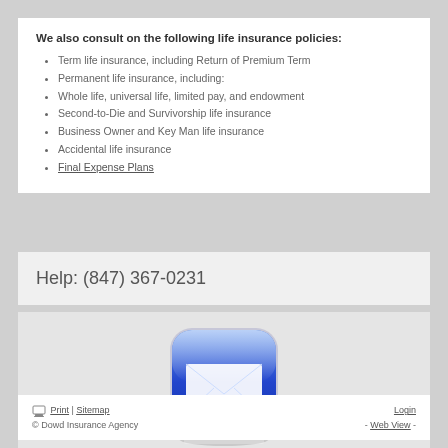We also consult on the following life insurance policies:
Term life insurance, including Return of Premium Term
Permanent life insurance, including:
Whole life, universal life, limited pay, and endowment
Second-to-Die and Survivorship life insurance
Business Owner and Key Man life insurance
Accidental life insurance
Final Expense Plans
Help: (847) 367-0231
[Figure (illustration): Blue rounded square app icon with a white envelope/mail symbol in the center, with a glossy reflection below]
Print | Sitemap   Login - Web View -   © Dowd Insurance Agency